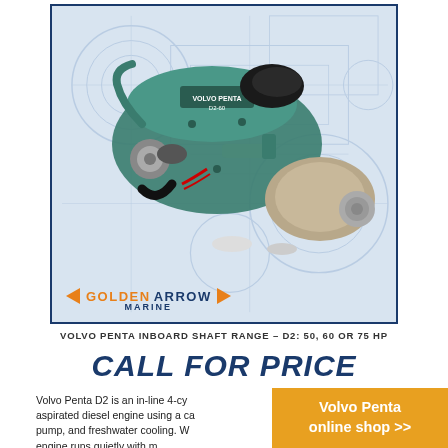[Figure (photo): Volvo Penta D2 marine diesel engine (teal/green color) with transmission, displayed on a light blue engineering blueprint background. Golden Arrow Marine logo in the bottom left of the image box.]
VOLVO PENTA INBOARD SHAFT RANGE - D2: 50, 60 OR 75 HP
CALL FOR PRICE
Volvo Penta D2 is an in-line 4-cy aspirated diesel engine using a ca pump, and freshwater cooling. W engine runs quietly with m
Volvo Penta online shop >>